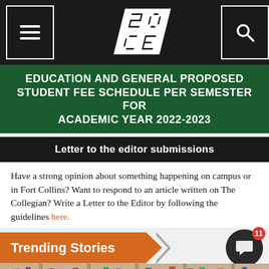The Collegian — navigation header with menu, logo (C), and search icons
EDUCATION AND GENERAL PROPOSED STUDENT FEE SCHEDULE PER SEMESTER FOR ACADEMIC YEAR 2022-2023
Letter to the editor submissions
Have a strong opinion about something happening on campus or in Fort Collins? Want to respond to an article written on The Collegian? Write a Letter to the Editor by following the guidelines here.
Trending Stories
[Figure (photo): Bookshelf with colorful books, decorative items, and a person partially visible at the bottom of the frame.]